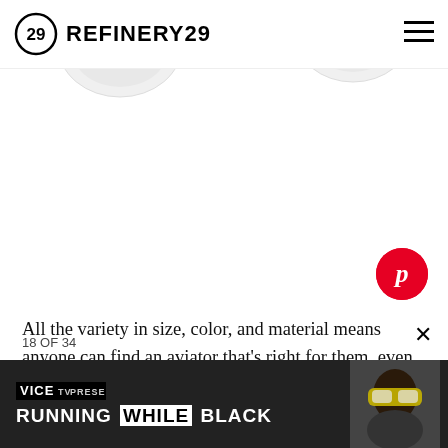REFINERY29
[Figure (photo): Two white lens sunglasses/goggles partially visible at top of page against white background, with Pinterest share button (red circle with white P) overlaid at bottom right]
All the variety in size, color, and material means anyone can find an aviator that's right for them, even outside the heart-shaped category.
18 OF 34
[Figure (screenshot): Advertisement bar: VICE TV PRESENTS RUNNING WHILE BLACK, with image of person wearing ski goggles on right side]